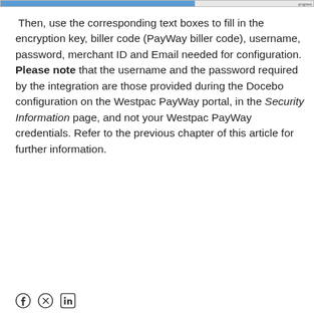[Figure (screenshot): Top navigation/progress bar with blue fill and label on right side]
Then, use the corresponding text boxes to fill in the encryption key, biller code (PayWay biller code), username, password, merchant ID and Email needed for configuration. Please note that the username and the password required by the integration are those provided during the Docebo configuration on the Westpac PayWay portal, in the Security Information page, and not your Westpac PayWay credentials. Refer to the previous chapter of this article for further information.
[Figure (illustration): Social media icons: Facebook, Twitter/X, LinkedIn at the bottom of the page]